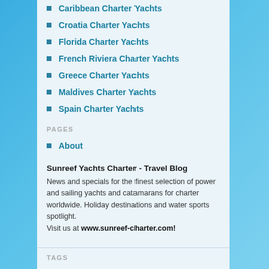Caribbean Charter Yachts
Croatia Charter Yachts
Florida Charter Yachts
French Riviera Charter Yachts
Greece Charter Yachts
Maldives Charter Yachts
Spain Charter Yachts
PAGES
About
Sunreef Yachts Charter - Travel Blog
News and specials for the finest selection of power and sailing yachts and catamarans for charter worldwide. Holiday destinations and water sports spotlight.
Visit us at www.sunreef-charter.com!
TAGS
70 Sunreef Power CLOUDS Antigua Bahamas